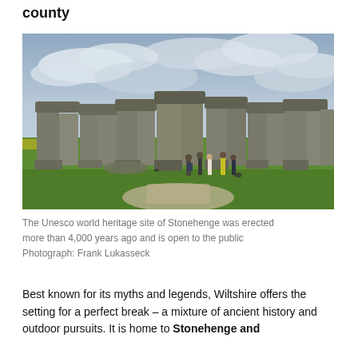county
[Figure (photo): Photograph of Stonehenge - the Unesco world heritage site showing the large standing stones on a green field under a cloudy sky, with visitors standing on the path in front of the stones]
The Unesco world heritage site of Stonehenge was erected more than 4,000 years ago and is open to the public Photograph: Frank Lukasseck
Best known for its myths and legends, Wiltshire offers the setting for a perfect break – a mixture of ancient history and outdoor pursuits. It is home to Stonehenge and